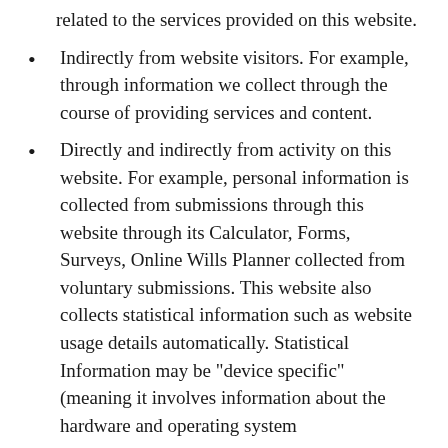related to the services provided on this website.
Indirectly from website visitors. For example, through information we collect through the course of providing services and content.
Directly and indirectly from activity on this website. For example, personal information is collected from submissions through this website through its Calculator, Forms, Surveys, Online Wills Planner collected from voluntary submissions. This website also collects statistical information such as website usage details automatically. Statistical Information may be "device specific" (meaning it involves information about the hardware and operating system